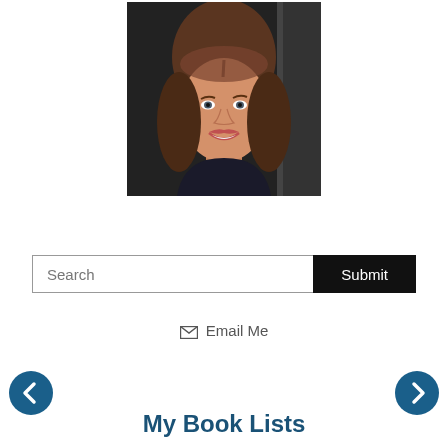[Figure (photo): Portrait photo of a woman with brown shoulder-length hair, smiling, wearing a dark top and pearl necklace, on dark background]
Search
Submit
✉ Email Me
My Book Lists